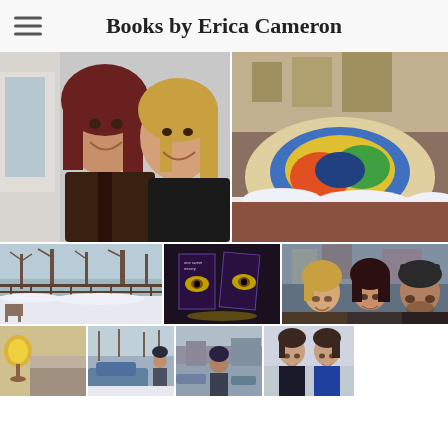Books by Erica Cameron
[Figure (photo): Two women smiling together indoors, one with dark hair in a brown leather jacket, one with blonde hair in a black jacket]
[Figure (photo): Colorful mosaic or mural on the ground partially covered by snow]
[Figure (photo): Outdoor winter scene with snow-covered yard and bare trees]
[Figure (photo): Two copies of a book with a dark cover showing a glowing eye, appears to be 'One Sweet Misery' or similar title]
[Figure (photo): Three people smiling outdoors, an urban setting in the background]
[Figure (photo): Hotel or motel room interior with lamp]
[Figure (photo): Winter outdoor scene with a person near a car]
[Figure (photo): Outdoor scene with a person in winter clothing]
[Figure (photo): Two women standing side by side smiling]